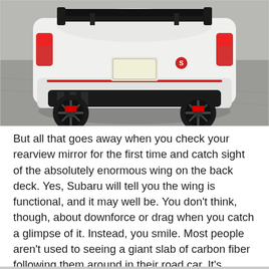[Figure (photo): Rear view of a white sports car (Subaru BRZ/86 with an S badge) with a large black spoiler/wing, black alloy wheels, red brake calipers, and dual exhaust tips, parked on a grey asphalt road. The car casts a shadow and a red accent stripe is visible on the rear bumper.]
But all that goes away when you check your rearview mirror for the first time and catch sight of the absolutely enormous wing on the back deck. Yes, Subaru will tell you the wing is functional, and it may well be. You don't think, though, about downforce or drag when you catch a glimpse of it. Instead, you smile. Most people aren't used to seeing a giant slab of carbon fiber following them around in their road car. It's incongruous. It's unusual. It's, well, very silly, and that's how sports cars should be. They should be the thing in your life that reminds you to have fun.